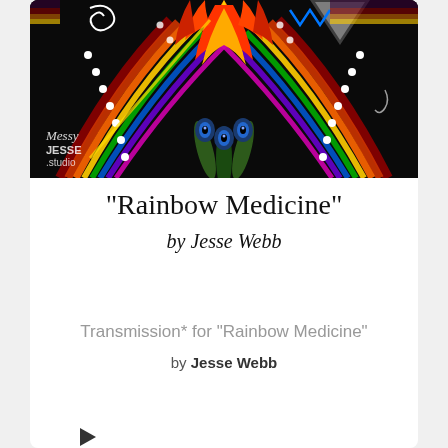[Figure (illustration): Colorful mixed-media artwork featuring an owl-like creature with rainbow-colored decorative patterns, peacock feathers, dots, spirals, and vibrant abstract shapes on a black background. Watermark reads 'Messy Jesse .studio']
“Rainbow Medicine”
by Jesse Webb
Transmission* for "Rainbow Medicine"
by Jesse Webb